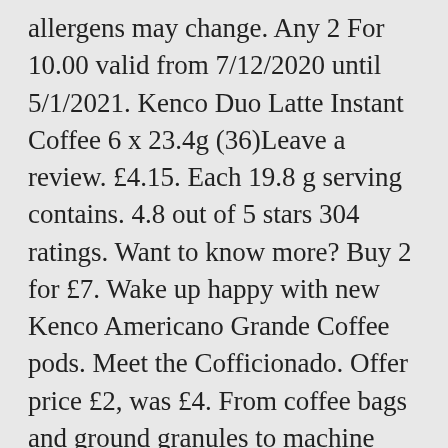allergens may change. Any 2 For 10.00 valid from 7/12/2020 until 5/1/2021. Kenco Duo Latte Instant Coffee 6 x 23.4g (36)Leave a review. £4.15. Each 19.8 g serving contains. 4.8 out of 5 stars 304 ratings. Want to know more? Buy 2 for £7. Wake up happy with new Kenco Americano Grande Coffee pods. Meet the Cofficionado. Offer price £2, was £4. From coffee bags and ground granules to machine pods and instant sachets – you'll find your preferred choice here.. Find everything you need to make the perfect blend – whether you're into americanos, lattes or classy cappuccinos. Add to trolley. I recently had the opportunity to try Black Tower's new offering - B Secco White and B Secco Rosé. Kenco Pure